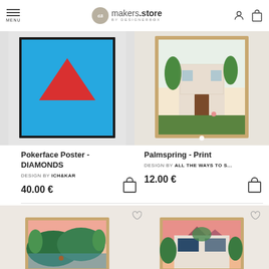makers.store by DESIGNERBOX
[Figure (photo): Pokerface Poster - DIAMONDS artwork: blue background with red inverted triangle diamond shape, black border frame]
Pokerface Poster - DIAMONDS
DESIGN BY ICH&KAR
40.00 €
[Figure (photo): Palmspring - Print artwork: illustrated house with tropical plants and pink flamingo, wooden frame]
Palmspring - Print
DESIGN BY ALL THE WAYS TO S...
12.00 €
[Figure (photo): Two framed art prints partially visible at bottom: left shows tropical jungle scene with pink sky, right shows pink mountain landscape with modern building]
[Figure (photo): Right bottom framed art print: pink mountain landscape with modern building and tropical plants]